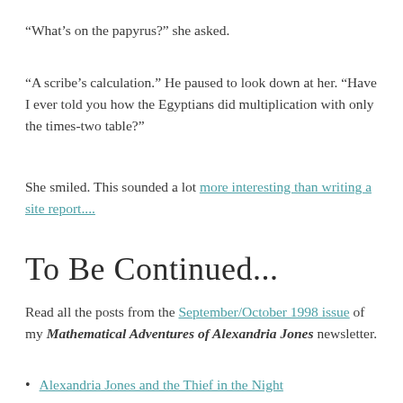“What’s on the papyrus?” she asked.
“A scribe’s calculation.” He paused to look down at her. “Have I ever told you how the Egyptians did multiplication with only the times-two table?”
She smiled. This sounded a lot more interesting than writing a site report....
To Be Continued...
Read all the posts from the September/October 1998 issue of my Mathematical Adventures of Alexandria Jones newsletter.
Alexandria Jones and the Thief in the Night